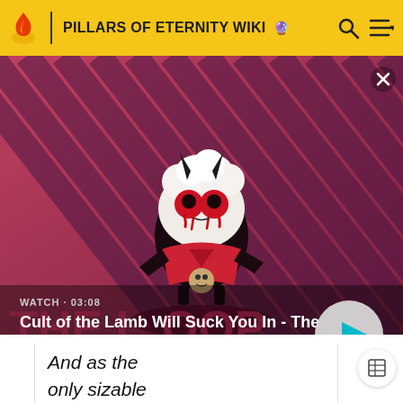PILLARS OF ETERNITY WIKI
[Figure (screenshot): Video thumbnail showing Cult of the Lamb character (white fluffy creature with red eyes, black horns, wearing red outfit) on a diagonal pink and purple striped background. Overlay text shows 'WATCH · 03:08' and title 'Cult of the Lamb Will Suck You In - The Loop' with a play button circle on the right.]
And as the only sizable outfit without a connection